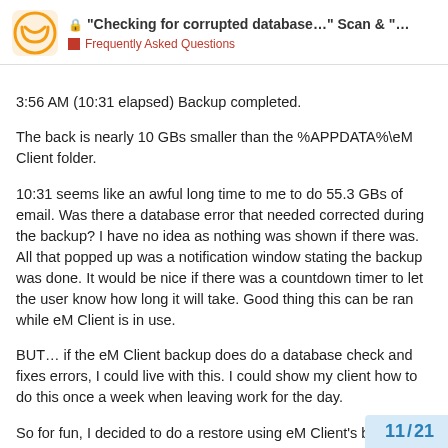"Checking for corrupted database..." Scan & "..." Frequently Asked Questions
3:56 AM (10:31 elapsed) Backup completed.
The back is nearly 10 GBs smaller than the %APPDATA%\eM Client folder.
10:31 seems like an awful long time to me to do 55.3 GBs of email. Was there a database error that needed corrected during the backup? I have no idea as nothing was shown if there was. All that popped up was a notification window stating the backup was done. It would be nice if there was a countdown timer to let the user know how long it will take. Good thing this can be ran while eM Client is in use.
BUT… if the eM Client backup does do a database check and fixes errors, I could live with this. I could show my client how to do this once a week when leaving work for the day.
So for fun, I decided to do a restore using eM Client's built in restore…
11 / 21